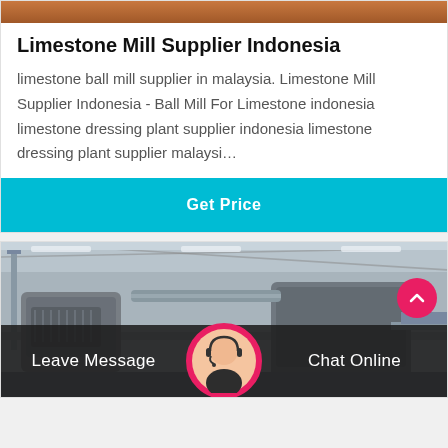[Figure (photo): Top portion of a limestone mill machine, orange/red colored equipment]
Limestone Mill Supplier Indonesia
limestone ball mill supplier in malaysia. Limestone Mill Supplier Indonesia - Ball Mill For Limestone indonesia limestone dressing plant supplier indonesia limestone dressing plant supplier malaysi…
Get Price
[Figure (photo): Industrial factory interior showing heavy machinery and equipment in grayscale]
Leave Message
Chat Online